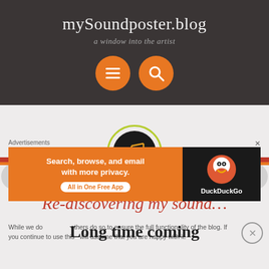mySoundposter.blog
a window into the artist
[Figure (screenshot): Website header with orange navigation buttons (menu and search icons)]
[Figure (logo): Music note logo in dark circle with green border]
Re-discovering my sound…
Long time coming
While we do... ensure the full functionality of the blog. If you continue to use this will assume that you are happy with it.
Advertisements
[Figure (screenshot): DuckDuckGo advertisement banner: Search, browse, and email with more privacy. All in One Free App.]